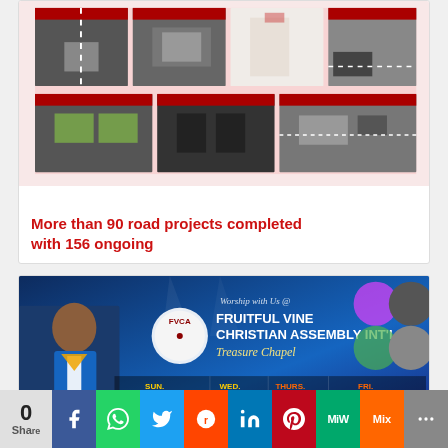[Figure (photo): Grid of road construction project photos showing completed and ongoing roads]
More than 90 road projects completed with 156 ongoing
[Figure (photo): Church advertisement banner for Fruitful Vine Christian Assembly Int'l - Treasure Chapel, showing service times and location]
Worship with Us @ FRUITFUL VINE CHRISTIAN ASSEMBLY INT'L. Treasure Chapel
SUN. 1st Service 7am, 2nd Service 9:30am, Combined Service Last Sunday of The Month - 8am | WED. Pastoral Counseling/Deliverance 5:30pm | THURS. Divine Shower/Praise Night 5:30pm | FRI. Faith Clinic 10:00am
Off St. John's Junction, Along Egbelu-Ogbogoro Rd.
0 Share | Facebook | WhatsApp | Twitter | Reddit | LinkedIn | Pinterest | MeWe | Mix | More